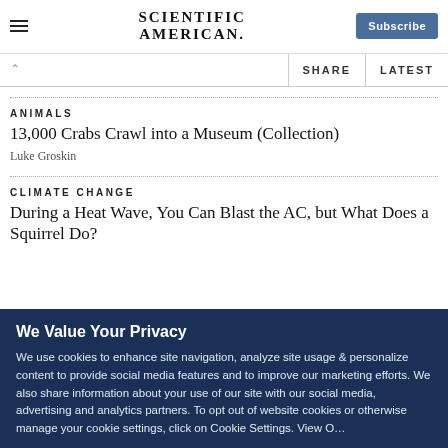SCIENTIFIC AMERICAN
SHARE | LATEST
ANIMALS
13,000 Crabs Crawl into a Museum (Collection)
Luke Groskin
CLIMATE CHANGE
During a Heat Wave, You Can Blast the AC, but What Does a Squirrel Do?
We Value Your Privacy
We use cookies to enhance site navigation, analyze site usage & personalize content to provide social media features and to improve our marketing efforts. We also share information about your use of our site with our social media, advertising and analytics partners. To opt out of website cookies or otherwise manage your cookie settings, click on Cookie Settings. View O…